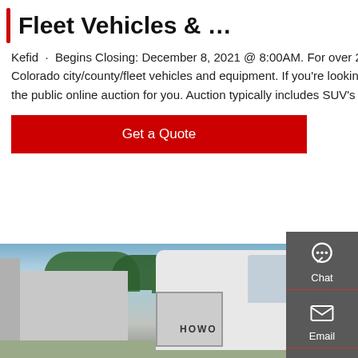Fleet Vehicles & …
Kefid · Begins Closing: December 8, 2021 @ 8:00AM. For over 20 years Roller Auctions has been the place to find Colorado city/county/fleet vehicles and equipment. If you're looking for well maintained used vehicles and equipment this is the public online auction for you. Auction typically includes SUV's Sedans, Pickups, Utility Trucks, Dump Trucks
Get a Quote
[Figure (photo): White HOWO semi-truck cab parked in front of an industrial building with trees in the background, with a red vehicle partially visible on the right.]